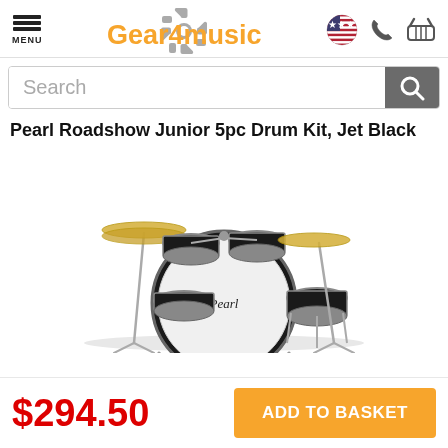Gear4music
Search
Pearl Roadshow Junior 5pc Drum Kit, Jet Black
[Figure (photo): Pearl Roadshow Junior 5-piece drum kit in Jet Black finish, showing bass drum, snare, three toms, hi-hat stand with cymbal, and additional cymbal on stand]
$294.50
ADD TO BASKET